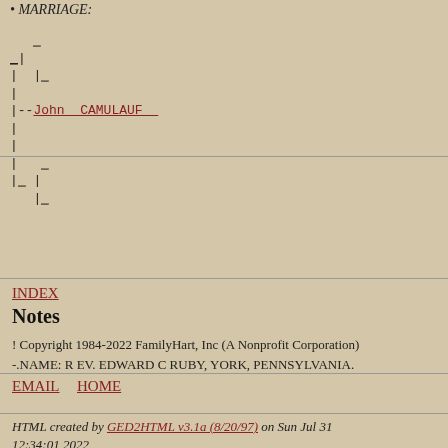MARRIAGE:
[Figure (other): Genealogy tree diagram showing family branches with lines and dashes, including a link to John CAMULAUF]
INDEX
Notes
! Copyright 1984-2022 FamilyHart, Inc (A Nonprofit Corporation)
-.NAME: R EV. EDWARD C RUBY, YORK, PENNSYLVANIA.
EMAIL  HOME
HTML created by GED2HTML v3.1a (8/20/97) on Sun Jul 31 12:34:01 2022